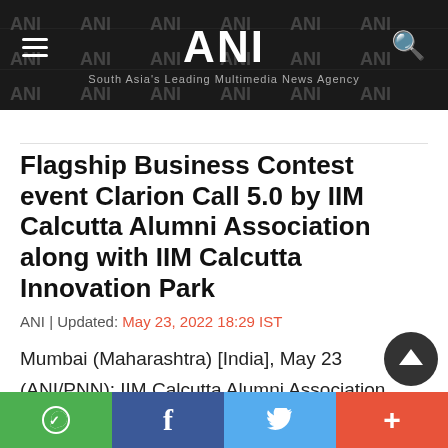ANI | South Asia's Leading Multimedia News Agency
Flagship Business Contest event Clarion Call 5.0 by IIM Calcutta Alumni Association along with IIM Calcutta Innovation Park
ANI | Updated: May 23, 2022 18:29 IST
Mumbai (Maharashtra) [India], May 23 (ANI/PNN): IIM Calcutta Alumni Association (IIMCAA), along with IIM Calcutta Innovation Park, has